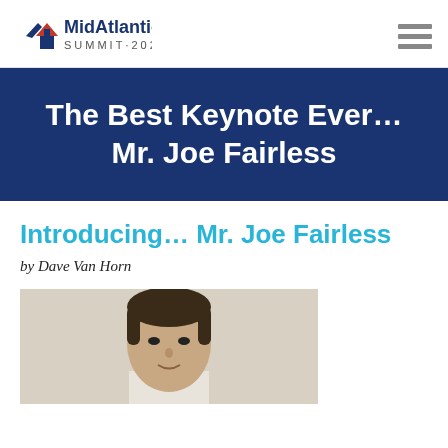MidAtlantic SUMMIT·2020
The Best Keynote Ever… Mr. Joe Fairless
Introducing… Mr. Joe Fairless
by Dave Van Horn
[Figure (photo): Headshot photo of a man with dark hair, cropped to show head and shoulders, against a light background]